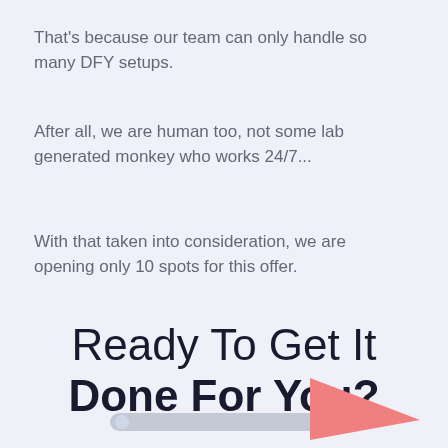That's because our team can only handle so many DFY setups.
After all, we are human too, not some lab generated monkey who works 24/7...
With that taken into consideration, we are opening only 10 spots for this offer.
Ready To Get It Done For You?
[Figure (illustration): Partial illustration showing a gray horizontal bar/pencil shape and a salmon/coral colored triangular arrow shape at the bottom of the page]